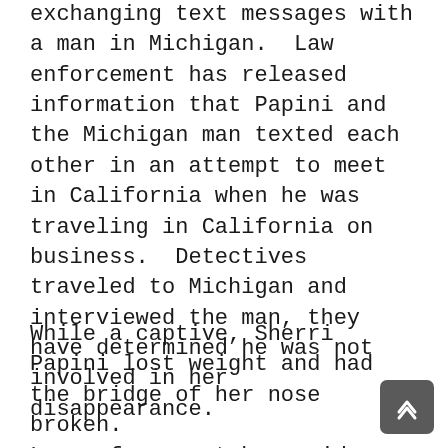exchanging text messages with a man in Michigan.  Law enforcement has released information that Papini and the Michigan man texted each other in an attempt to meet in California when he was traveling in California on business.  Detectives traveled to Michigan and interviewed the man, they have determined he was not involved in her disappearance.
While a captive, Sherri Papini lost weight and had the bridge of her nose broken.
Law enforcement has said there is no evidence that this is a hoax but the mounting inconsistencies have caused scrutiny of Papini's background.  In the early 2000s Papini's family filed incident reports with law enforcement that Sherri Papini harmed herself and blamed the injuries on others.  Another